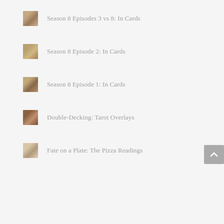Season 8 Episodes 3 vs 8: In Cards
Season 8 Episode 2: In Cards
Season 8 Episode 1: In Cards
Double-Decking: Tarot Overlays
Fate on a Plate: The Pizza Readings